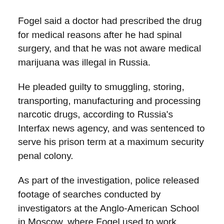Fogel said a doctor had prescribed the drug for medical reasons after he had spinal surgery, and that he was not aware medical marijuana was illegal in Russia.
He pleaded guilty to smuggling, storing, transporting, manufacturing and processing narcotic drugs, according to Russia's Interfax news agency, and was sentenced to serve his prison term at a maximum security penal colony.
As part of the investigation, police released footage of searches conducted by investigators at the Anglo-American School in Moscow, where Fogel used to work.
His sentencing comes two days after the Khimki court delayed the trial yet again for Ms Griner.
The Phoenix Mercury star was detained last February for